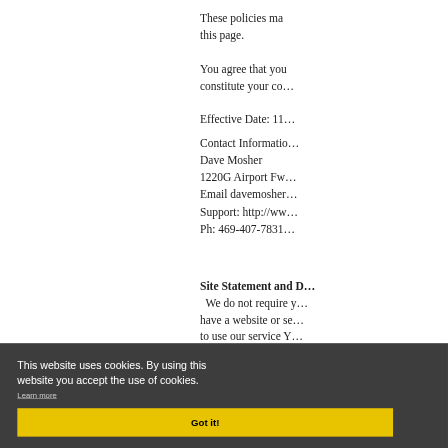These policies ma... this page.
You agree that you... constitute your co...
Effective Date: 11...
Contact Informatio...
Dave Mosher
1220G Airport Fw...
Email davemosher...
Support: http://ww...
Ph: 469-407-7831
Site Statement and D...
We do not require y...
have a website or se...
to use our service Y...
This website uses cookies. By using this website you accept the use of cookies.
Learn more
Got it!